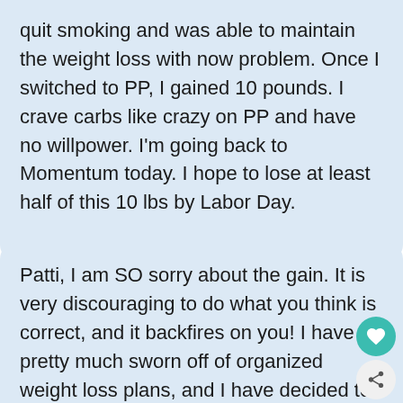quit smoking and was able to maintain the weight loss with now problem. Once I switched to PP, I gained 10 pounds. I crave carbs like crazy on PP and have no willpower. I'm going back to Momentum today. I hope to lose at least half of this 10 lbs by Labor Day.
patti
Patti, I am SO sorry about the gain. It is very discouraging to do what you think is correct, and it backfires on you! I have pretty much sworn off of organized weight loss plans, and I have decided to listen to my body and eat well and in smaller portions. I think weight loss plans make us think